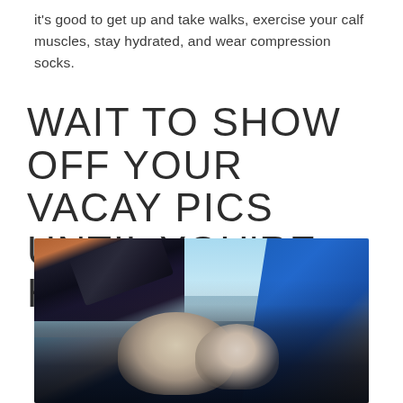it's good to get up and take walks, exercise your calf muscles, stay hydrated, and wear compression socks.
WAIT TO SHOW OFF YOUR VACAY PICS UNTIL YOU'RE HOME
[Figure (photo): An older couple taking a selfie on the beach. The man is in a dark wetsuit holding a smartphone camera, smiling broadly. A woman is kissing his cheek. A blue surfboard is visible on the right. Bright sky and ocean in the background.]